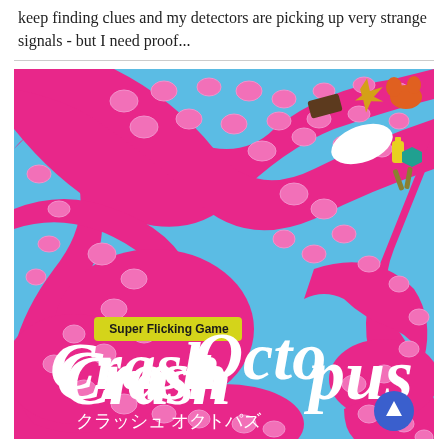keep finding clues and my detectors are picking up very strange signals - but I need proof...
[Figure (illustration): Board game box art for 'Crash Octopus' - a Super Flicking Game. Blue background with large pink octopus tentacles filling the frame. White stylized text reads 'Crash Octopus' with Japanese subtitle 'クラッシュ オクトパズ'. A yellow banner reads 'Super Flicking Game'. Small game piece illustrations (brown rectangle, gold star/crown, orange coral, white oval, yellow flask, teal gem, olive sticks) appear in upper right. A blue circular scroll-up button with white arrow is in the lower right.]